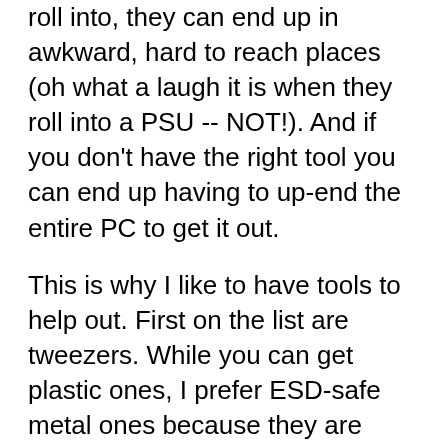roll into, they can end up in awkward, hard to reach places (oh what a laugh it is when they roll into a PSU -- NOT!). And if you don't have the right tool you can end up having to up-end the entire PC to get it out.
This is why I like to have tools to help out. First on the list are tweezers. While you can get plastic ones, I prefer ESD-safe metal ones because they are stronger. Whia has a good range spanning different shapes and sizes.
I also like to have a magnetic pickup too, not so much for working inside a PC (it's not the magnetism I'm worried about but more the way that the head can be drawn towards any and all metallic objects with as much force as you'd expect) but